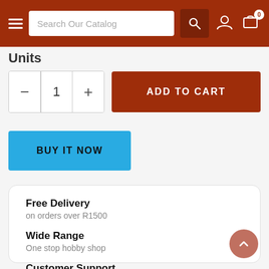Search Our Catalog
Units
- 1 + ADD TO CART
BUY IT NOW
Free Delivery
on orders over R1500
Wide Range
One stop hobby shop
Customer Support
Fast friendly service